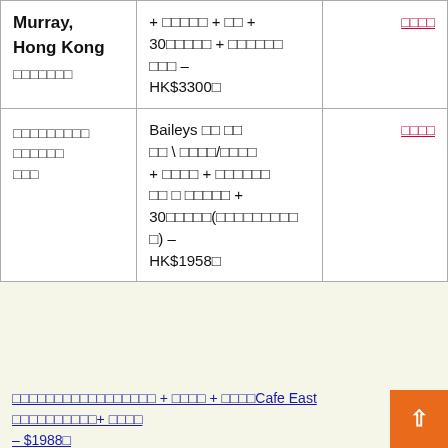| Location | Details | Link |
| --- | --- | --- |
| Murray, Hong Kong
□□□□□□□ | + □□□□□ + □□ + 30□□□□□ + □□□□□□□□ – HK$3300□ | □□□□ |
| □□□□□□□□□ □□□□□□□□□ | Baileys □□ □□□□ \ □□□□/□□□□ + □□□□ + □□□□□□□ □ □□□□□ + 30□□□□□(□□□□□□□□□) – HK$1958□ | □□□□ |
□□□□□□□□□□□□□□□□□ + □□□□ + □□□□Cafe East □□□□□□□□□□+ □□□□ – $1988□